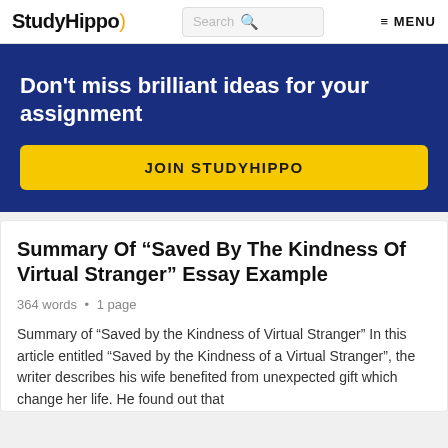StudyHippo  Search  MENU
Don't miss brilliant ideas for your assignment
JOIN STUDYHIPPO
Summary Of “Saved By The Kindness Of Virtual Stranger” Essay Example
364 words • 1 page
Summary of “Saved by the Kindness of Virtual Stranger” In this article entitled “Saved by the Kindness of a Virtual Stranger”, the writer describes his wife benefited from unexpected gift which change her life. He found out that